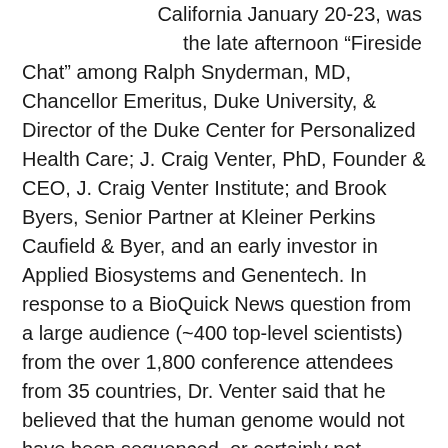California January 20-23, was the late afternoon “Fireside Chat” among Ralph Snyderman, MD, Chancellor Emeritus, Duke University, & Director of the Duke Center for Personalized Health Care; J. Craig Venter, PhD, Founder & CEO, J. Craig Venter Institute; and Brook Byers, Senior Partner at Kleiner Perkins Caufield & Byer, and an early investor in Applied Biosystems and Genentech. In response to a BioQuick News question from a large audience (~400 top-level scientists) from the over 1,800 conference attendees from 35 countries, Dr. Venter said that he believed that the human genome would not have been sequenced, or certainly not sequenced as fast as it was, without the major technological contributions of Michael W. Hunkapiller, PhD (then President of Applied Biosystems (ABI), and now CEO & President, Pacific Biosciences), who had played a major role in the invention of the first automated DNA Sequencer